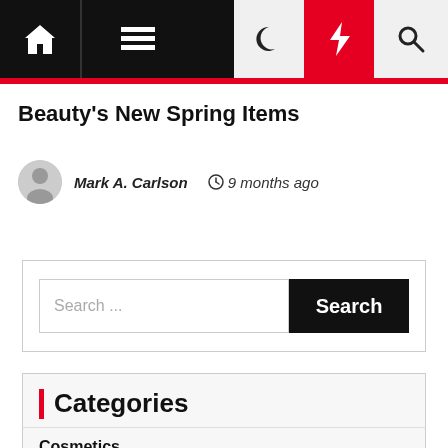Navigation bar with home, menu, moon, bolt, and search icons
Beauty's New Spring Items
Mark A. Carlson  9 months ago
[Figure (other): Search input box with placeholder 'Search ...' and black Search button]
Categories
Cosmetics
Fashion